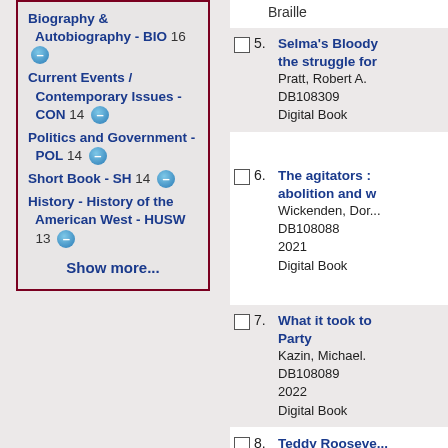Biography & Autobiography - BIO 16
Current Events / Contemporary Issues - CON 14
Politics and Government - POL 14
Short Book - SH 14
History - History of the American West - HUSW 13
Show more...
Braille
5. Selma's Bloody... the struggle for... Pratt, Robert A. DB108309 Digital Book
6. The agitators : abolition and w... Wickenden, Dor... DB108088 2021 Digital Book
7. What it took to ... Party Kazin, Michael. DB108089 2022 Digital Book
8. Teddy Rooseve... Gutman, Dan.